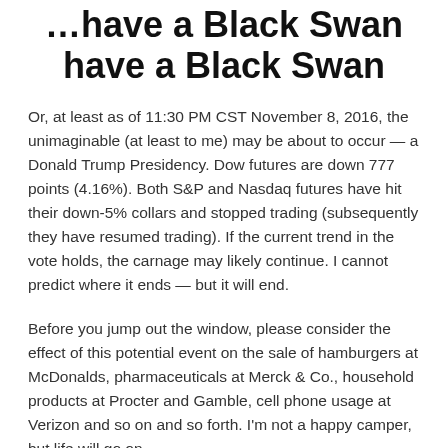…have a Black Swan
Or, at least as of 11:30 PM CST November 8, 2016, the unimaginable (at least to me) may be about to occur — a Donald Trump Presidency. Dow futures are down 777 points (4.16%). Both S&P and Nasdaq futures have hit their down-5% collars and stopped trading (subsequently they have resumed trading). If the current trend in the vote holds, the carnage may likely continue. I cannot predict where it ends — but it will end.
Before you jump out the window, please consider the effect of this potential event on the sale of hamburgers at McDonalds, pharmaceuticals at Merck & Co., household products at Procter and Gamble, cell phone usage at Verizon and so on and so forth. I'm not a happy camper, but life will go on.
As to all the many awful and unconventional statements and promises made by candidate Trump —